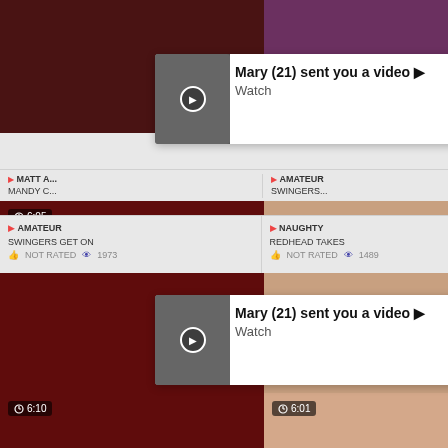[Figure (screenshot): Top left video thumbnail - dark reddish scene]
[Figure (screenshot): Top right video thumbnail - purple/dark scene]
Mary (21) sent you a video ▶ Watch
▶ MATT A... MANDY C...
[Figure (screenshot): Middle left video thumbnail with 6:05 timer, red scene, SWING on T watermark]
[Figure (screenshot): Middle right video thumbnail - people standing, SWING watermark]
Mary (21) sent you a video ▶ Watch
▶ AMATEUR SWINGERS GET ON NOT RATED 1973
▶ NAUGHTY REDHEAD TAKES NOT RATED 1489
[Figure (screenshot): Bottom left video thumbnail 6:10, red scene with people]
[Figure (screenshot): Bottom right video thumbnail 6:01, man in cap]